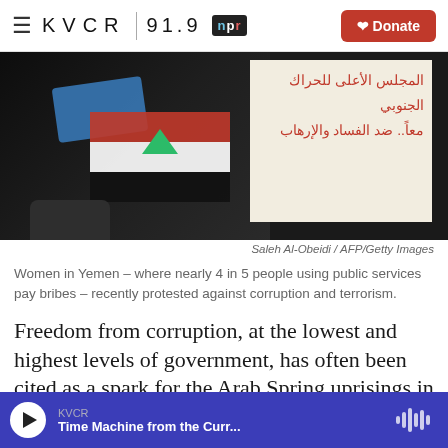KVCR 91.9 NPR — Donate
[Figure (photo): Women in Yemen holding a flag and a sign with Arabic text at a protest against corruption and terrorism.]
Saleh Al-Obeidi / AFP/Getty Images
Women in Yemen – where nearly 4 in 5 people using public services pay bribes – recently protested against corruption and terrorism.
Freedom from corruption, at the lowest and highest levels of government, has often been cited as a spark for the Arab Spring uprisings in the Middle East. But according to a new report, many people —
KVCR — Time Machine from the Curr...